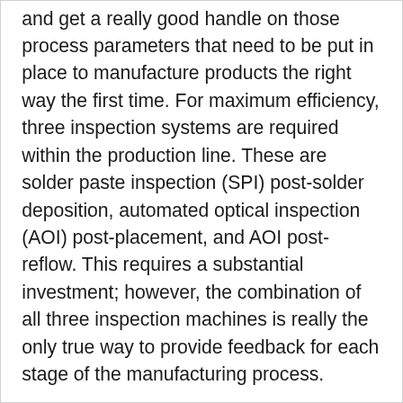and get a really good handle on those process parameters that need to be put in place to manufacture products the right way the first time. For maximum efficiency, three inspection systems are required within the production line. These are solder paste inspection (SPI) post-solder deposition, automated optical inspection (AOI) post-placement, and AOI post-reflow. This requires a substantial investment; however, the combination of all three inspection machines is really the only true way to provide feedback for each stage of the manufacturing process.
MIRTEC Corp★
ph Neutral Cleaning Agents - Market Expectation & Field Performance